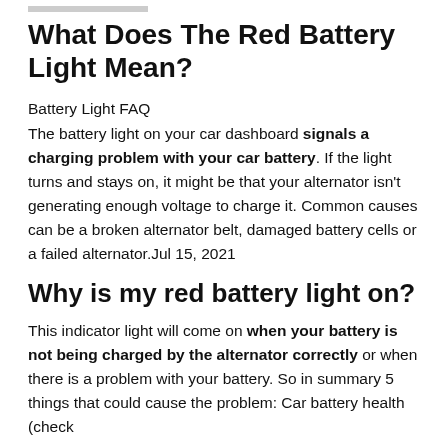What Does The Red Battery Light Mean?
Battery Light FAQ
The battery light on your car dashboard signals a charging problem with your car battery. If the light turns and stays on, it might be that your alternator isn't generating enough voltage to charge it. Common causes can be a broken alternator belt, damaged battery cells or a failed alternator.Jul 15, 2021
Why is my red battery light on?
This indicator light will come on when your battery is not being charged by the alternator correctly or when there is a problem with your battery. So in summary 5 things that could cause the problem: Car battery health (check